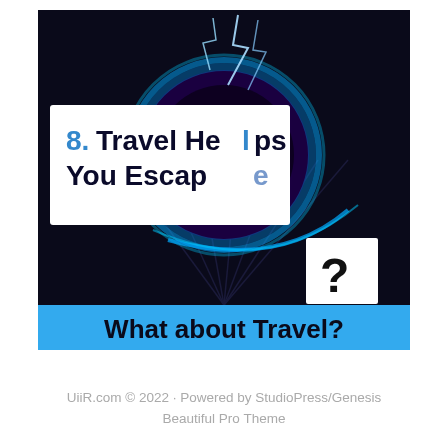[Figure (illustration): Thumbnail image with a dark cosmic/black hole background with blue lightning effects. A white box overlay contains bold text '8. Travel Helps You Escape' in dark navy/black. A white box in the lower right contains a large bold '?'. Below the main image is a bright blue banner with bold black text 'What about Travel?']
UiiR.com © 2022 · Powered by StudioPress/Genesis Beautiful Pro Theme